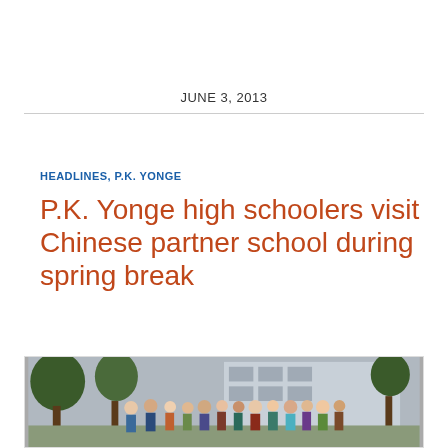JUNE 3, 2013
HEADLINES, P.K. YONGE
P.K. Yonge high schoolers visit Chinese partner school during spring break
[Figure (photo): Group photo of P.K. Yonge high school students and faculty outdoors in front of a building with trees, taken during their visit to a Chinese partner school during spring break.]